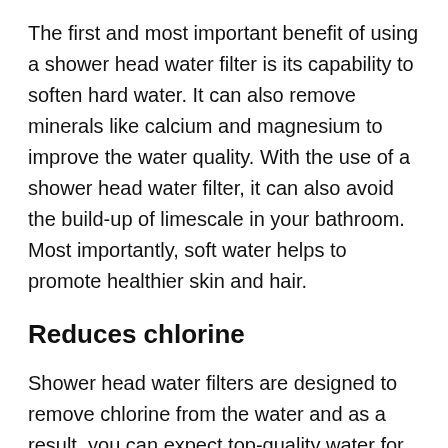The first and most important benefit of using a shower head water filter is its capability to soften hard water. It can also remove minerals like calcium and magnesium to improve the water quality. With the use of a shower head water filter, it can also avoid the build-up of limescale in your bathroom. Most importantly, soft water helps to promote healthier skin and hair.
Reduces chlorine
Shower head water filters are designed to remove chlorine from the water and as a result, you can expect top-quality water for healthier showering. Chlorine is not a healthy element for our hair, nails and skin because it strips the natural oil from them